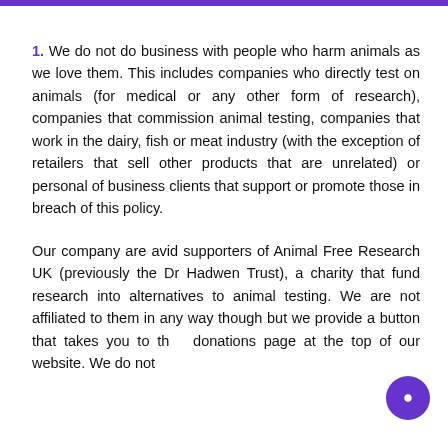1. We do not do business with people who harm animals as we love them. This includes companies who directly test on animals (for medical or any other form of research), companies that commission animal testing, companies that work in the dairy, fish or meat industry (with the exception of retailers that sell other products that are unrelated) or personal of business clients that support or promote those in breach of this policy.
Our company are avid supporters of Animal Free Research UK (previously the Dr Hadwen Trust), a charity that fund research into alternatives to animal testing. We are not affiliated to them in any way though but we provide a button that takes you to their donations page at the top of our website. We do not